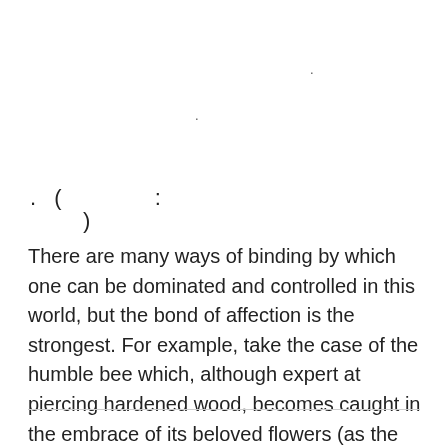.
.
.( :
)
There are many ways of binding by which one can be dominated and controlled in this world, but the bond of affection is the strongest. For example, take the case of the humble bee which, although expert at piercing hardened wood, becomes caught in the embrace of its beloved flowers (as the petals close at dusk).